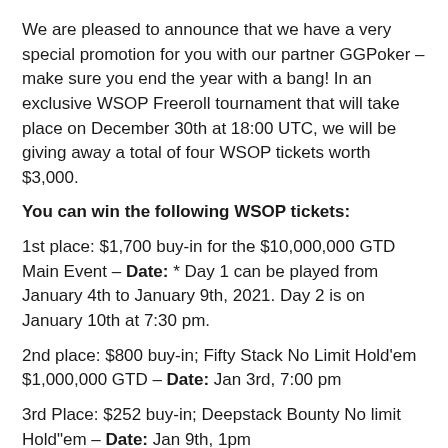We are pleased to announce that we have a very special promotion for you with our partner GGPoker – make sure you end the year with a bang! In an exclusive WSOP Freeroll tournament that will take place on December 30th at 18:00 UTC, we will be giving away a total of four WSOP tickets worth $3,000.
You can win the following WSOP tickets:
1st place: $1,700 buy-in for the $10,000,000 GTD Main Event – Date: * Day 1 can be played from January 4th to January 9th, 2021. Day 2 is on January 10th at 7:30 pm.
2nd place: $800 buy-in; Fifty Stack No Limit Hold'em $1,000,000 GTD – Date: Jan 3rd, 7:00 pm
3rd Place: $252 buy-in; Deepstack Bounty No limit Hold"em – Date: Jan 9th, 1pm
4th place: $252 buy-in; Deepstack Bounty No limit Hold'em – Date: Jan 8th, 1pm